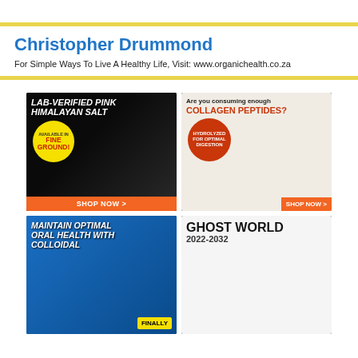Christopher Drummond
For Simple Ways To Live A Healthy Life, Visit: www.organichealth.co.za
[Figure (illustration): Advertisement for Lab-Verified Pink Himalayan Salt, available in fine ground, with Shop Now button]
[Figure (illustration): Advertisement asking 'Are you consuming enough Collagen Peptides?' Hydrolyzed for optimal digestion, with Shop Now button]
[Figure (illustration): Advertisement: Maintain Optimal Oral Health With Colloidal...]
[Figure (illustration): Advertisement: Ghost World 2022-2032]